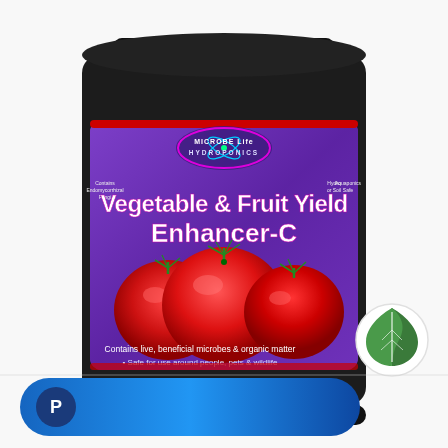[Figure (photo): A large dark plastic jug of Microbe Life Hydroponics 'Vegetable & Fruit Yield Enhancer-C' product. The label is purple with large red tomatoes pictured. Text on label reads: Contains live, beneficial microbes & organic matter; Safe for use around people, pets & wildlife. Contains Endomycorrhizal Fungi. Hydro or Soil Safe. Aquaponics Safe.]
[Figure (logo): PayPal rounded pill-shaped banner/button in blue gradient with white PayPal P logo on the left, at the bottom of the image.]
[Figure (logo): Green eco leaf badge/icon in a white circle, bottom right of the image.]